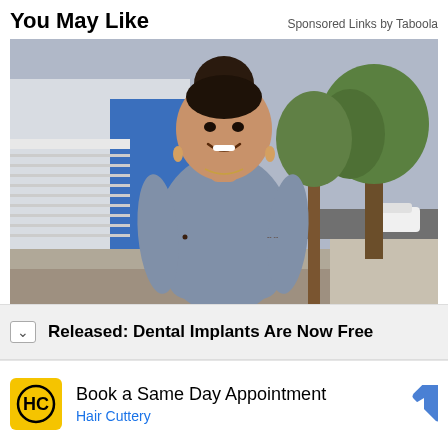You May Like
Sponsored Links by Taboola
[Figure (photo): A smiling woman with dark hair in a bun, wearing a fitted gray short-sleeve dress, standing on a sidewalk outdoors with a fence, trees, and a street visible in the background.]
Released: Dental Implants Are Now Free
Book a Same Day Appointment
Hair Cuttery